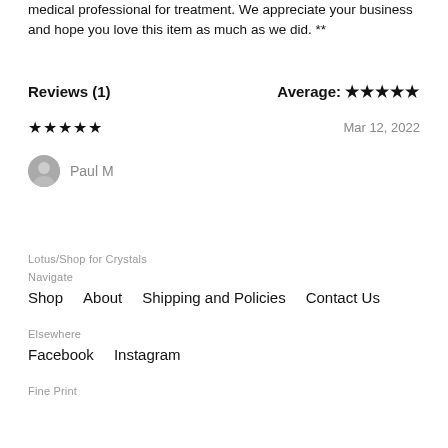medical professional for treatment. We appreciate your business and hope you love this item as much as we did. **
Reviews (1)
Average: ★★★★★
★★★★★   Mar 12, 2022
Paul M
Lotus/Shop for Crystals
Navigate
Shop   About   Shipping and Policies   Contact Us
Elsewhere
Facebook   Instagram
Fine Print